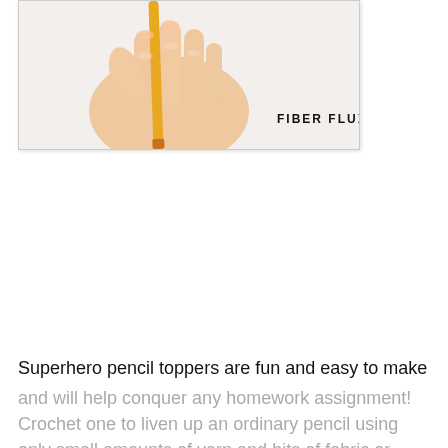[Figure (photo): A hand holding a yellow pencil or crochet hook against a light background, with the text 'FIBER FLUX' in bold black letters in the lower right of the image frame.]
Superhero pencil toppers are fun and easy to make and will help conquer any homework assignment! Crochet one to liven up an ordinary pencil using only small amounts of yarn and bits of fabric or felt...